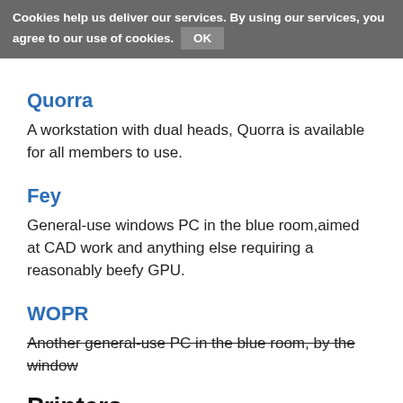Cookies help us deliver our services. By using our services, you agree to our use of cookies. OK
Quorra
A workstation with dual heads, Quorra is available for all members to use.
Fey
General-use windows PC in the blue room,aimed at CAD work and anything else requiring a reasonably beefy GPU.
WOPR
Another general-use PC in the blue room, by the window
Printers